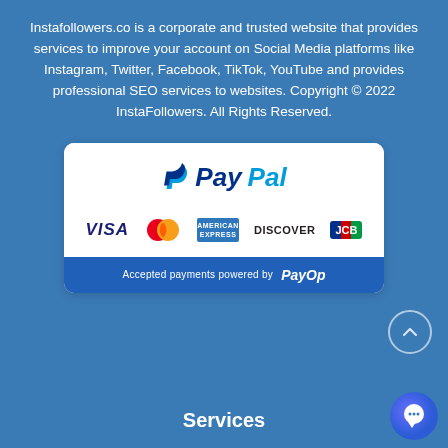Instafollowers.co is a corporate and trusted website that provides services to improve your account on Social Media platforms like Instagram, Twitter, Facebook, TikTok, YouTube and provides professional SEO services to websites. Copyright © 2022 InstaFollowers. All Rights Reserved.
[Figure (infographic): Payment methods card showing PayPal logo at top, then card logos: VISA, Mastercard, American Express, Discover, JCB. Bottom bar reads 'Accepted payments powered by PayOp']
[Figure (other): Circular scroll-to-top button with upward chevron arrow, placed at right side]
Services
[Figure (other): Blue circular chat/messaging button in bottom right corner]